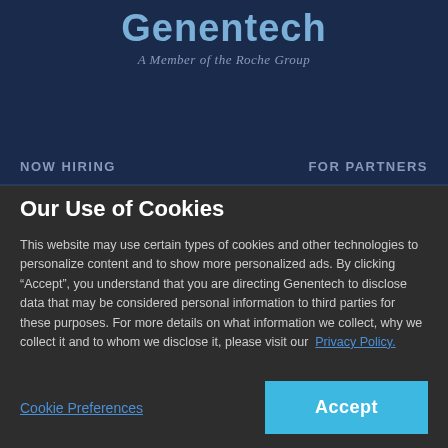Genentech
A Member of the Roche Group
NOW HIRING
FOR PARTNERS
Our Use of Cookies
This website may use certain types of cookies and other technologies to personalize content and to show more personalized ads. By clicking “Accept”, you understand that you are directing Genentech to disclose data that may be considered personal information to third parties for these purposes. For more details on what information we collect, why we collect it and to whom we disclose it, please visit our  Privacy Policy.
Cookie Preferences
Accept